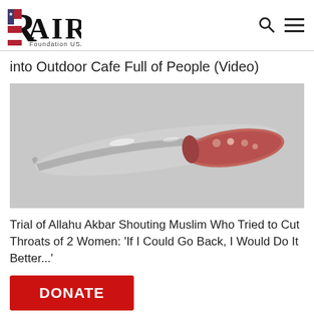RAIR Foundation USA
into Outdoor Cafe Full of People (Video)
[Figure (photo): Photo of a knife with a decorative red and white handle against a gray background]
Trial of Allahu Akbar Shouting Muslim Who Tried to Cut Throats of 2 Women: 'If I Could Go Back, I Would Do It Better...'
DONATE